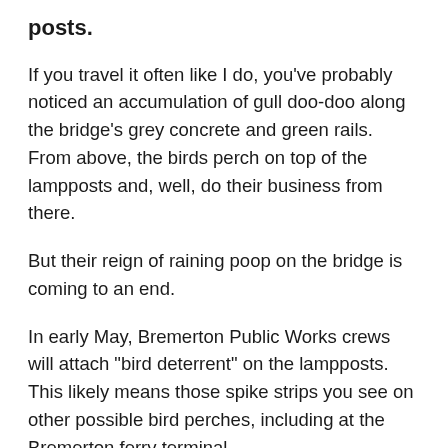posts.
If you travel it often like I do, you've probably noticed an accumulation of gull doo-doo along the bridge's grey concrete and green rails. From above, the birds perch on top of the lampposts and, well, do their business from there.
But their reign of raining poop on the bridge is coming to an end.
In early May, Bremerton Public Works crews will attach "bird deterrent" on the lampposts. This likely means those spike strips you see on other possible bird perches, including at the Bremerton ferry terminal.
The poo issue came to light last year, when the bird droppings had a banner year.